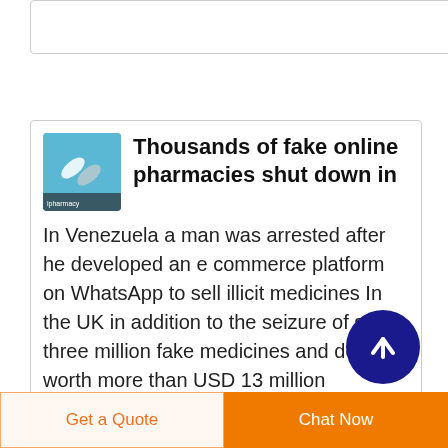[Figure (screenshot): Top card placeholder with border]
[Figure (photo): Article thumbnail showing a pill/tablet on blue background with pharmacy label]
Thousands of fake online pharmacies shut down in
In Venezuela a man was arrested after he developed an e commerce platform on WhatsApp to sell illicit medicines In the UK in addition to the seizure of some three million fake medicines and devices worth more than USD 13 million authorities also removed more than 3 100
[Figure (other): Dark blue circular scroll-up button with white upward arrow]
Get a Quote
Chat Now